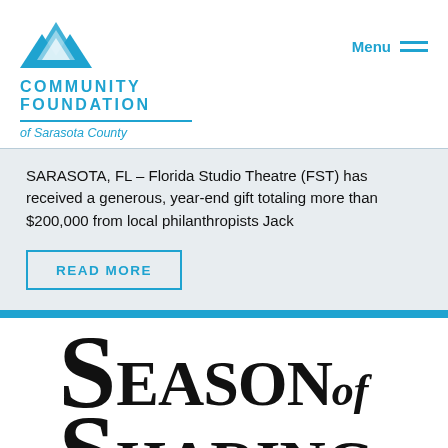[Figure (logo): Community Foundation of Sarasota County logo with blue geometric mountain/house icon, bold blue uppercase text COMMUNITY FOUNDATION, horizontal rule, and italic text 'of Sarasota County']
Menu
SARASOTA, FL – Florida Studio Theatre (FST) has received a generous, year-end gift totaling more than $200,000 from local philanthropists Jack
READ MORE
[Figure (logo): Season of Sharing large stylized serif logotype in black, with oversized capital S letters and the text SEASON of SHARING]